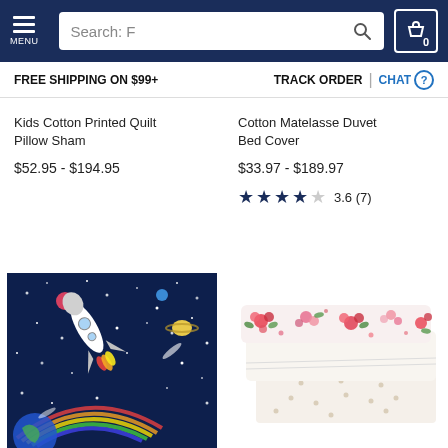MENU | Search: F | 0
FREE SHIPPING ON $99+   TRACK ORDER | CHAT
Kids Cotton Printed Quilt Pillow Sham
$52.95 - $194.95
Cotton Matelasse Duvet Bed Cover
$33.97 - $189.97
3.6 (7)
[Figure (photo): Space-themed navy blue quilt/blanket with rocket ship, planets, stars, and rainbow design]
[Figure (photo): Floral patterned bedding set — pillow with red/pink floral print on white background, stacked with dotted sheets]